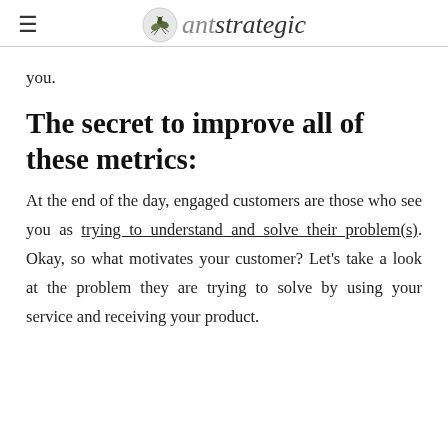antstrategic
you.
The secret to improve all of these metrics:
At the end of the day, engaged customers are those who see you as trying to understand and solve their problem(s). Okay, so what motivates your customer? Let’s take a look at the problem they are trying to solve by using your service and receiving your product.